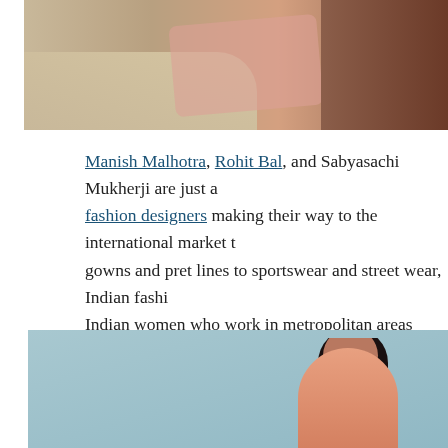[Figure (photo): Top portion of a photo showing sandy ground with footprints and what appears to be currency notes, with a dark-skinned person partially visible on the right]
Manish Malhotra, Rohit Bal, and Sabyasachi Mukherji are just a few fashion designers making their way to the international market t… gowns and pret lines to sportswear and street wear, Indian fashi… Indian women who work in metropolitan areas typically wear tr… kameez or churidar kameez, which are both classic Indian dress…
[Figure (photo): A woman in traditional Indian fashion clothing with braided hair and dramatic makeup posed against a light blue background, wearing a peach/coral colored outfit]